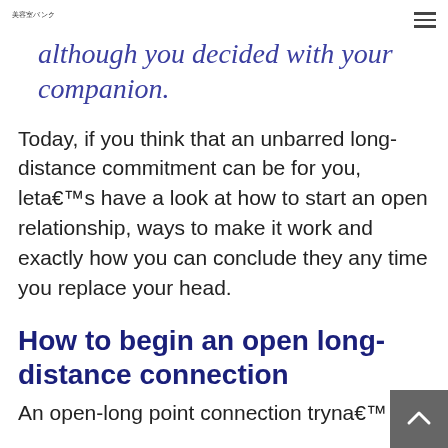美容室バンク
although you decided with your companion.
Today, if you think that an unbarred long-distance commitment can be for you, leta€™s have a look at how to start an open relationship, ways to make it work and exactly how you can conclude they any time you replace your head.
How to begin an open long-distance connection
An open-long point connection tryna€™